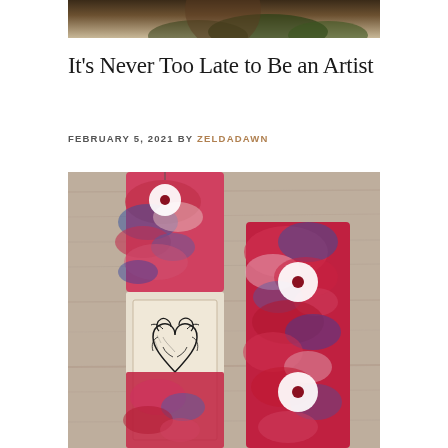[Figure (photo): Partial top photo showing a person outdoors with greenery in background, cropped at bottom of frame]
It’s Never Too Late to Be an Artist
FEBRUARY 5, 2021 BY ZELDADAWN
[Figure (photo): Artistic handmade bookmarks or tags with marbled red and blue patterned paper on a wooden background, one featuring an anatomical heart illustration, connected with white circular buttons/rings]